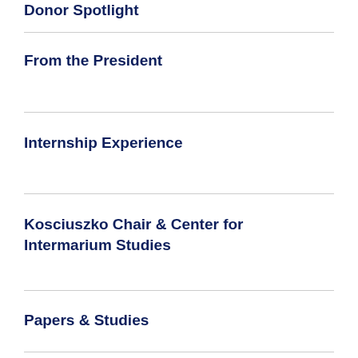Donor Spotlight
From the President
Internship Experience
Kosciuszko Chair & Center for Intermarium Studies
Papers & Studies